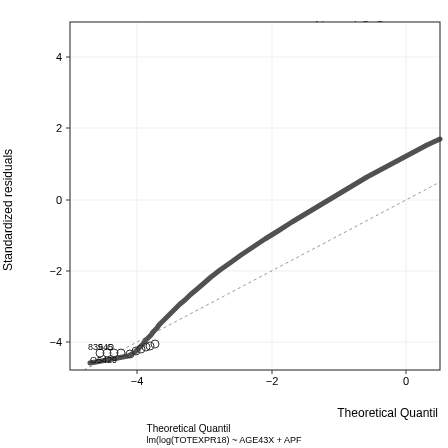[Figure (continuous-plot): Normal Q-Q plot showing standardized residuals vs theoretical quantiles. The data points form a heavy-tailed S-curve deviating from the reference line (dotted diagonal). Several labeled outlier points appear at the lower left: 839, 545, 5429. Y-axis ranges from about -4.5 to 4+; X-axis ranges from about -4.5 to 0+.]
lm(log(TOTEXPR18) ~ AGE43X + APF